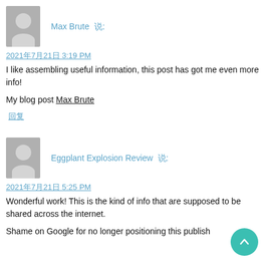Max Brute 说:
2021年7月21日 3:19 PM
I like assembling useful information, this post has got me even more info!

My blog post Max Brute
回复
Eggplant Explosion Review 说:
2021年7月21日 5:25 PM
Wonderful work! This is the kind of info that are supposed to be shared across the internet.

Shame on Google for no longer positioning this publish